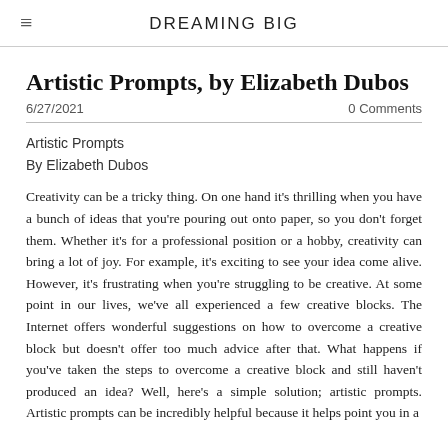DREAMING BIG
Artistic Prompts, by Elizabeth Dubos
6/27/2021    0 Comments
Artistic Prompts
By Elizabeth Dubos
Creativity can be a tricky thing. On one hand it's thrilling when you have a bunch of ideas that you're pouring out onto paper, so you don't forget them. Whether it's for a professional position or a hobby, creativity can bring a lot of joy. For example, it's exciting to see your idea come alive. However, it's frustrating when you're struggling to be creative. At some point in our lives, we've all experienced a few creative blocks. The Internet offers wonderful suggestions on how to overcome a creative block but doesn't offer too much advice after that. What happens if you've taken the steps to overcome a creative block and still haven't produced an idea? Well, here's a simple solution; artistic prompts. Artistic prompts can be incredibly helpful because it helps point you in a